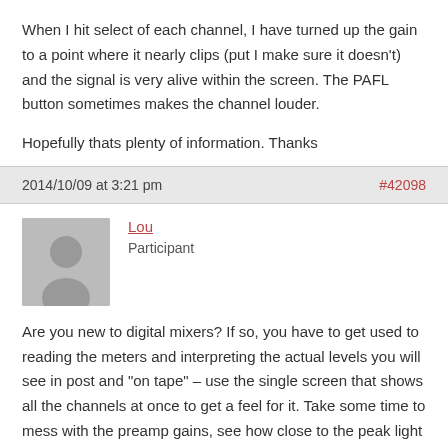When I hit select of each channel, I have turned up the gain to a point where it nearly clips (put I make sure it doesn't) and the signal is very alive within the screen. The PAFL button sometimes makes the channel louder.
Hopefully thats plenty of information. Thanks
2014/10/09 at 3:21 pm
#42098
Lou
Participant
Are you new to digital mixers? If so, you have to get used to reading the meters and interpreting the actual levels you will see in post and "on tape" – use the single screen that shows all the channels at once to get a feel for it. Take some time to mess with the preamp gains, see how close to the peak light you can get, like turn it up till you get a red light then go back down 6 to 12 dB…
I use the headphone volume on the Qu around 12 oclock, it is robust and